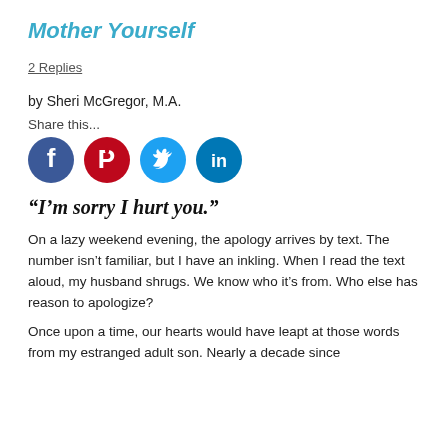Mother Yourself
2 Replies
by Sheri McGregor, M.A.
Share this...
[Figure (infographic): Four social media share buttons: Facebook (dark blue circle with white F), Pinterest (dark red circle with white P), Twitter (light blue circle with white bird), LinkedIn (teal circle with white 'in')]
“I’m sorry I hurt you.”
On a lazy weekend evening, the apology arrives by text. The number isn’t familiar, but I have an inkling. When I read the text aloud, my husband shrugs. We know who it’s from. Who else has reason to apologize?
Once upon a time, our hearts would have leapt at those words from my estranged adult son. Nearly a decade since